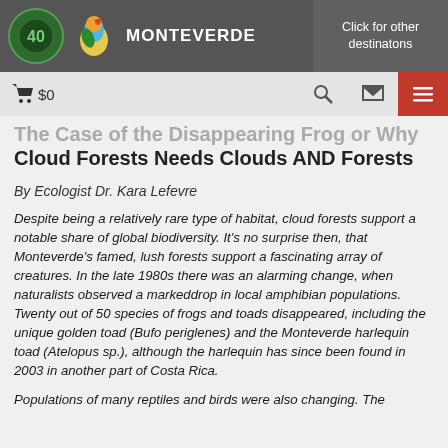MONTEVERDE | Click for other destinatons
The Case of the Disappearing Frog or Why Cloud Forests Needs Clouds AND Forests
By Ecologist Dr. Kara Lefevre
Despite being a relatively rare type of habitat, cloud forests support a notable share of global biodiversity. It's no surprise then, that Monteverde's famed, lush forests support a fascinating array of creatures. In the late 1980s there was an alarming change, when naturalists observed a markeddrop in local amphibian populations. Twenty out of 50 species of frogs and toads disappeared, including the unique golden toad (Bufo periglenes) and the Monteverde harlequin toad (Atelopus sp.), although the harlequin has since been found in 2003 in another part of Costa Rica.
Populations of many reptiles and birds were also changing. The